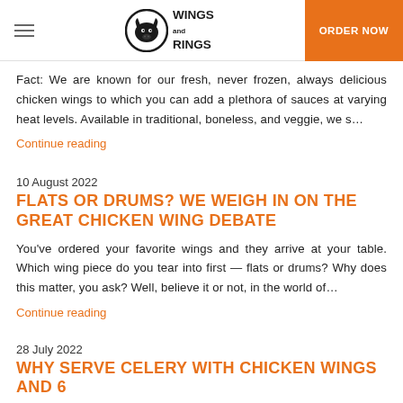[Figure (logo): Wings and Rings restaurant logo — bison head in a circle with 'Wings and Rings' text]
ORDER NOW
Fact: We are known for our fresh, never frozen, always delicious chicken wings to which you can add a plethora of sauces at varying heat levels. Available in traditional, boneless, and veggie, we s…
Continue reading
10 August 2022
FLATS OR DRUMS? WE WEIGH IN ON THE GREAT CHICKEN WING DEBATE
You've ordered your favorite wings and they arrive at your table. Which wing piece do you tear into first — flats or drums? Why does this matter, you ask? Well, believe it or not, in the world of…
Continue reading
28 July 2022
WHY SERVE CELERY WITH CHICKEN WINGS AND 6